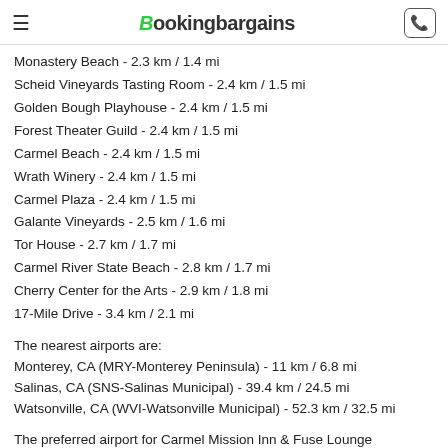Bookingbargains
Monastery Beach - 2.3 km / 1.4 mi
Scheid Vineyards Tasting Room - 2.4 km / 1.5 mi
Golden Bough Playhouse - 2.4 km / 1.5 mi
Forest Theater Guild - 2.4 km / 1.5 mi
Carmel Beach - 2.4 km / 1.5 mi
Wrath Winery - 2.4 km / 1.5 mi
Carmel Plaza - 2.4 km / 1.5 mi
Galante Vineyards - 2.5 km / 1.6 mi
Tor House - 2.7 km / 1.7 mi
Carmel River State Beach - 2.8 km / 1.7 mi
Cherry Center for the Arts - 2.9 km / 1.8 mi
17-Mile Drive - 3.4 km / 2.1 mi
The nearest airports are:
Monterey, CA (MRY-Monterey Peninsula) - 11 km / 6.8 mi
Salinas, CA (SNS-Salinas Municipal) - 39.4 km / 24.5 mi
Watsonville, CA (WVI-Watsonville Municipal) - 52.3 km / 32.5 mi
The preferred airport for Carmel Mission Inn & Fuse Lounge